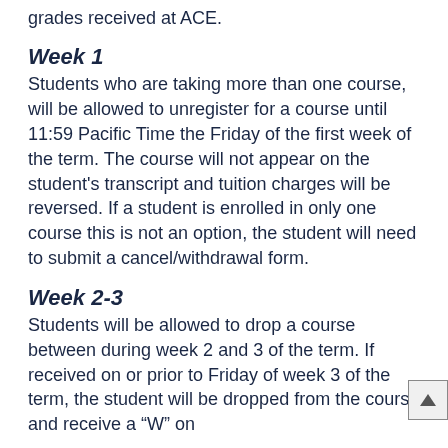grades received at ACE.
Week 1
Students who are taking more than one course, will be allowed to unregister for a course until 11:59 Pacific Time the Friday of the first week of the term. The course will not appear on the student's transcript and tuition charges will be reversed. If a student is enrolled in only one course this is not an option, the student will need to submit a cancel/withdrawal form.
Week 2-3
Students will be allowed to drop a course between during week 2 and 3 of the term. If received on or prior to Friday of week 3 of the term, the student will be dropped from the course and receive a "W" on